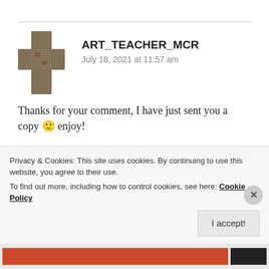ART_TEACHER_MCR
July 18, 2021 at 11:57 am
Thanks for your comment, I have just sent you a copy 🙂 enjoy!
★ Like
👍 0 👎 0 ℹ Rate This
REPLY
Privacy & Cookies: This site uses cookies. By continuing to use this website, you agree to their use.
To find out more, including how to control cookies, see here: Cookie Policy
I accept!